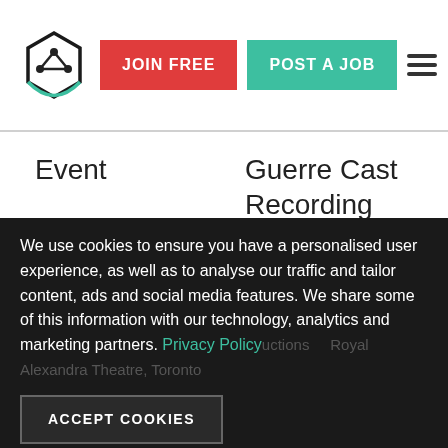[Figure (logo): Hexagonal logo with interconnected nodes, dark outline with teal accent]
JOIN FREE   POST A JOB
| Event | Guerre Cast Recording David Shrubsole / DreamWorks Records |
We use cookies to ensure you have a personalised user experience, as well as to analyse our traffic and tailor content, ads and social media features. We share some of this information with our technology, analytics and marketing partners. Privacy Policy
ACCEPT COOKIES
uctions   Royal Alexandra Theatre, Toronto